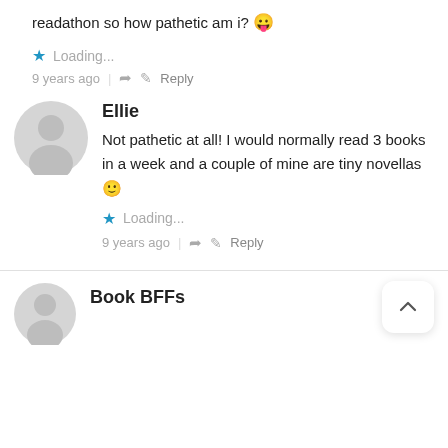readathon so how pathetic am i? 😛
⭐ Loading...
9 years ago  |  ↩  Reply
Ellie
Not pathetic at all! I would normally read 3 books in a week and a couple of mine are tiny novellas 🙂
⭐ Loading...
9 years ago  |  ↩  Reply
Book BFFs